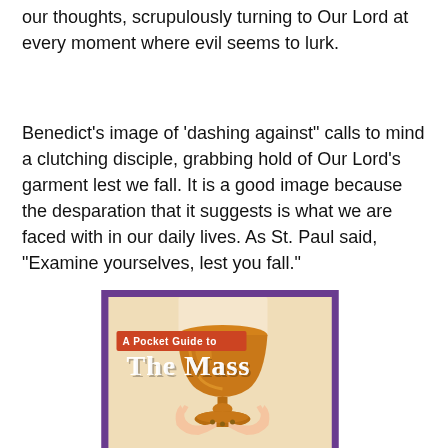our thoughts, scrupulously turning to Our Lord at every moment where evil seems to lurk.
Benedict's image of 'dashing against" calls to mind a clutching disciple, grabbing hold of Our Lord's garment lest we fall. It is a good image because the desparation that it suggests is what we are faced with in our daily lives. As St. Paul said, "Examine yourselves, lest you fall."
[Figure (illustration): Book cover for 'A Pocket Guide to The Mass' showing a gold chalice held by hands, with a purple border. An orange-red banner reads 'A Pocket Guide to' and below in white serif text reads 'The Mass'.]